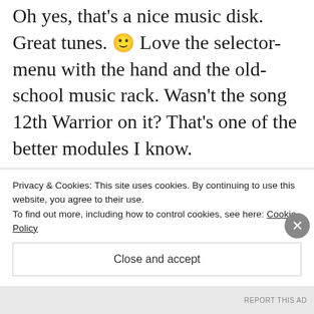Oh yes, that's a nice music disk. Great tunes. 🙂 Love the selector-menu with the hand and the old-school music rack. Wasn't the song 12th Warrior on it? That's one of the better modules I know.
Should really start digging up some old and possibly obscure demos from the early 1990's. Maybe I'll have a look at those released at the Arendal copy-party
Privacy & Cookies: This site uses cookies. By continuing to use this website, you agree to their use.
To find out more, including how to control cookies, see here: Cookie Policy
Close and accept